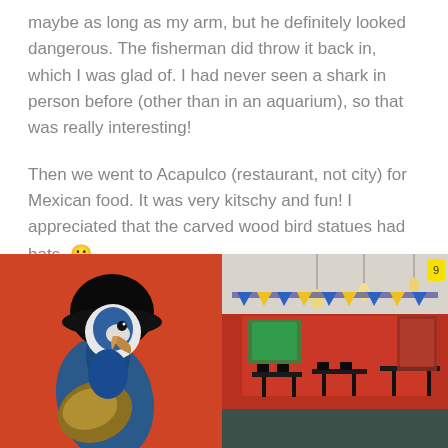maybe as long as my arm, but he definitely looked dangerous.  The fisherman did throw it back in, which I was glad of.  I had never seen a shark in person before (other than in an aquarium), so that was really interesting!
Then we went to Acapulco (restaurant, not city) for Mexican food. It was very kitschy and fun!   I appreciated that the carved wood bird statues had hats.  🙂
[Figure (photo): Close-up photo of a carved wooden parrot/macaw bird statue with blue and yellow feathers against a bright orange/red wall background]
[Figure (photo): Interior of Acapulco Mexican restaurant showing red walls, decorative banners, pendant lights, tables and chairs, and colorful murals]